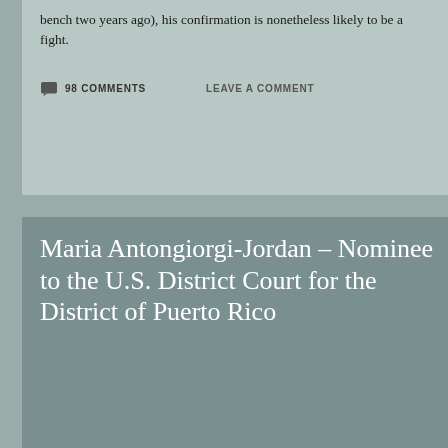bench two years ago), his confirmation is nonetheless likely to be a fight.
98 COMMENTS
LEAVE A COMMENT
Maria Antongiorgi-Jordan – Nominee to the U.S. District Court for the District of Puerto Rico
24 JUN 2022
HARSH VORUGANTI